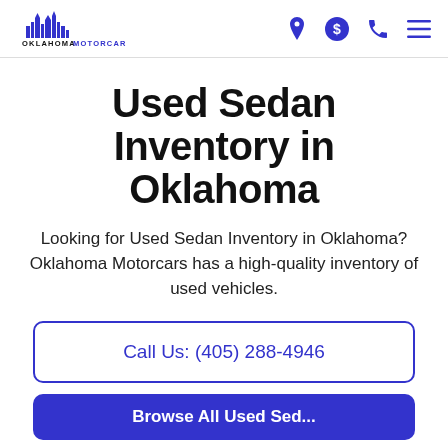[Figure (logo): Oklahoma Motorcars logo with city skyline silhouette above text 'OKLAHOMA MOTORCARS']
Used Sedan Inventory in Oklahoma
Looking for Used Sedan Inventory in Oklahoma? Oklahoma Motorcars has a high-quality inventory of used vehicles.
Call Us: (405) 288-4946
Browse All Used Sed...